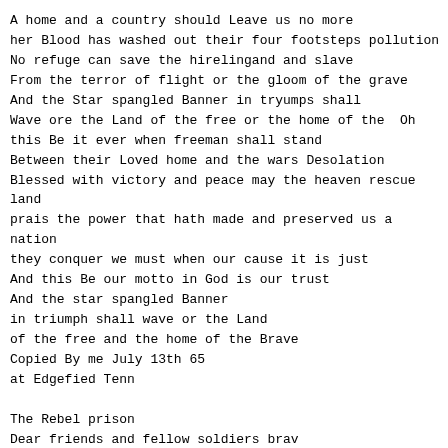A home and a country should Leave us no more
her Blood has washed out their four footsteps pollution
No refuge can save the hirelingand and slave
From the terror of flight or the gloom of the grave
And the Star spangled Banner in tryumps shall
Wave ore the Land of the free or the home of the  Oh
this Be it ever when freeman shall stand
Between their Loved home and the wars Desolation
Blessed with victory and peace may the heaven rescue
land
prais the power that hath made and preserved us a
nation
they conquer we must when our cause it is just
And this Be our motto in God is our trust
And the star spangled Banner
in triumph shall wave or the Land
of the free and the home of the Brave
Copied By me July 13th 65
at Edgefied Tenn

The Rebel prison
Dear friends and fellow soldiers brav
Come Listen to my song
About the Rebel prison our serving thar so long
our wreched state and hardships great
No one can understand but those who have
Endured the fate in Dixies sunny land

When captured by the chivalry they striped us to
the skin And failed to give us Back again the